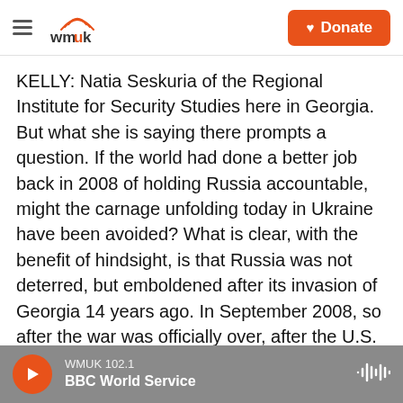WMUK logo, hamburger menu, Donate button
KELLY: Natia Seskuria of the Regional Institute for Security Studies here in Georgia. But what she is saying there prompts a question. If the world had done a better job back in 2008 of holding Russia accountable, might the carnage unfolding today in Ukraine have been avoided? What is clear, with the benefit of hindsight, is that Russia was not deterred, but emboldened after its invasion of Georgia 14 years ago. In September 2008, so after the war was officially over, after the U.S. had announced a billion-dollar reconstruction aid package for Georgia, John McCain weighed in. The
WMUK 102.1 BBC World Service